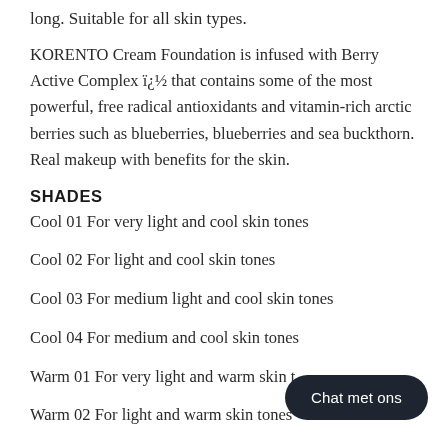long. Suitable for all skin types.
KORENTO Cream Foundation is infused with Berry Active Complex ï¿½ that contains some of the most powerful, free radical antioxidants and vitamin-rich arctic berries such as blueberries, blueberries and sea buckthorn. Real makeup with benefits for the skin.
SHADES
Cool 01 For very light and cool skin tones
Cool 02 For light and cool skin tones
Cool 03 For medium light and cool skin tones
Cool 04 For medium and cool skin tones
Warm 01 For very light and warm skin tones
Warm 02 For light and warm skin tones